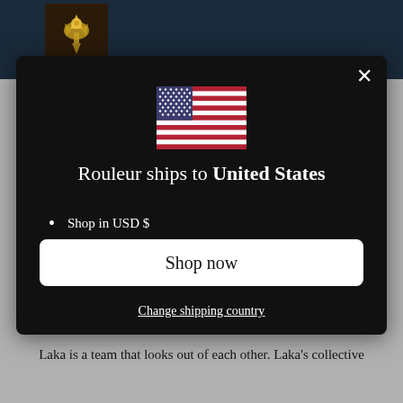[Figure (screenshot): US flag icon shown in the modal dialog]
Rouleur ships to United States
Shop in USD $
Get shipping options for United States
Shop now
Change shipping country
Laka is a team that looks out of each other. Laka's collective